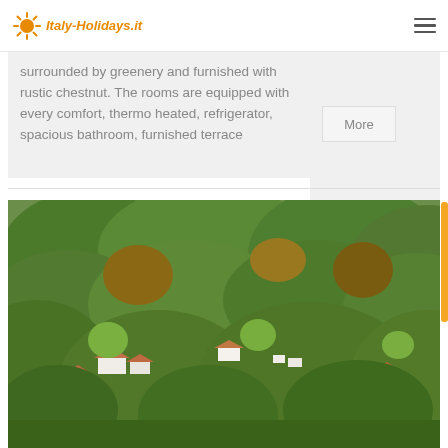Italy-Holidays.it
surrounded by greenery and furnished with rustic chestnut. The rooms are equipped with every comfort, thermo heated, refrigerator, spacious bathroom, furnished terrace
More
[Figure (photo): Aerial view of rural Italian farmhouses and cottages nestled among dense green forest and hillside vegetation, with terracotta roofs visible among the trees.]